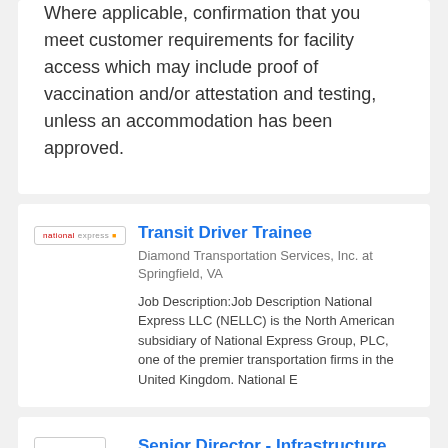Where applicable, confirmation that you meet customer requirements for facility access which may include proof of vaccination and/or attestation and testing, unless an accommodation has been approved.
[Figure (logo): National Express logo - small text logo with red and grey text]
Transit Driver Trainee
Diamond Transportation Services, Inc. at Springfield, VA
Job Description:Job Description National Express LLC (NELLC) is the North American subsidiary of National Express Group, PLC, one of the premier transportation firms in the United Kingdom. National E
[Figure (logo): Marriott International logo - black M with text]
Senior Director - Infrastructure Service Delivery - Properties